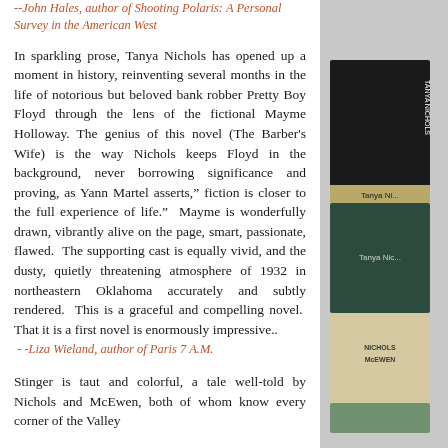--John Hales, author of Shooting Polaris: A Personal Survey in the American West
In sparkling prose, Tanya Nichols has opened up a moment in history, reinventing several months in the life of notorious but beloved bank robber Pretty Boy Floyd through the lens of the fictional Mayme Holloway. The genius of this novel (The Barber's Wife) is the way Nichols keeps Floyd in the background, never borrowing significance and proving, as Yann Martel asserts,” fiction is closer to the full experience of life.”  Mayme is wonderfully drawn, vibrantly alive on the page, smart, passionate, flawed.  The supporting cast is equally vivid, and the dusty, quietly threatening atmosphere of 1932 in northeastern Oklahoma accurately and subtly rendered.  This is a graceful and compelling novel.  That it is a first novel is enormously impressive..
- -Liza Wieland, author of Paris 7 A.M.
Stinger is taut and colorful, a tale well-told by Nichols and McEwen, both of whom know every corner of the Valley
[Figure (photo): Stack of books by Tanya Nichols and Nichols McEwen, shown on right side of page]